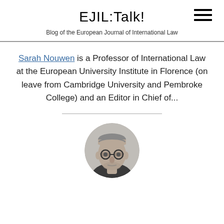EJIL:Talk!
Blog of the European Journal of International Law
Sarah Nouwen is a Professor of International Law at the European University Institute in Florence (on leave from Cambridge University and Pembroke College) and an Editor in Chief of...
[Figure (photo): Black and white circular portrait photo of an older man with short grey hair and round glasses, looking directly at the camera with a neutral expression.]